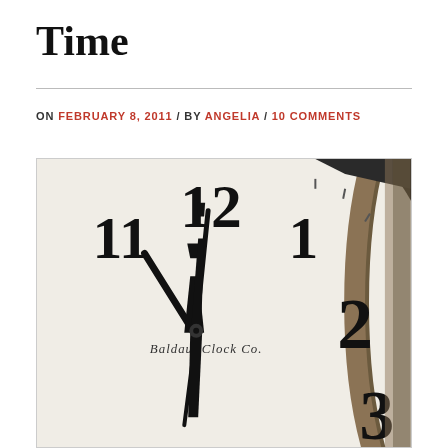Time
ON FEBRUARY 8, 2011 / BY ANGELIA / 10 COMMENTS
[Figure (photo): Close-up photograph of a Baldauf Clock Co. clock face showing numbers 11, 12, 1, 2, 3 and clock hands, with a bronze/gold rim visible on the right side. The clock face is white/cream with black ornate hands pointing near 12.]